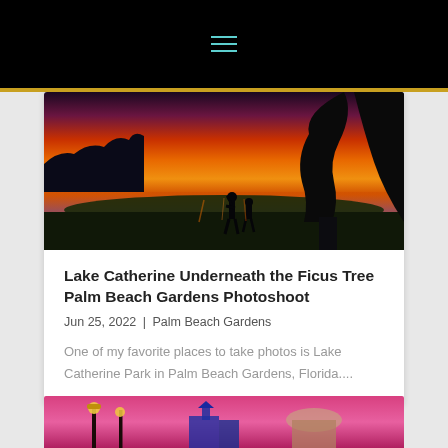[Figure (screenshot): Black navigation bar with hamburger menu icon (three teal horizontal lines) centered at the top of the page]
[Figure (photo): Dramatic sunset photo over Lake Catherine with silhouettes of two people standing near a large ficus tree by the water, orange and purple sky reflected in the lake]
Lake Catherine Underneath the Ficus Tree Palm Beach Gardens Photoshoot
Jun 25, 2022 | Palm Beach Gardens
One of my favorite places to take photos is Lake Catherine Park in Palm Beach Gardens, Florida....
[Figure (photo): Partially visible bottom image showing a pink/magenta sunset scene with lamp posts and buildings]